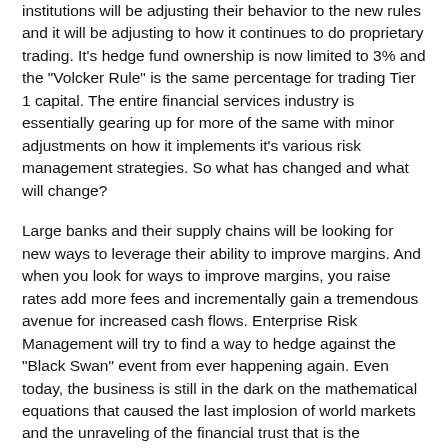institutions will be adjusting their behavior to the new rules and it will be adjusting to how it continues to do proprietary trading. It's hedge fund ownership is now limited to 3% and the "Volcker Rule" is the same percentage for trading Tier 1 capital. The entire financial services industry is essentially gearing up for more of the same with minor adjustments on how it implements it's various risk management strategies. So what has changed and what will change?
Large banks and their supply chains will be looking for new ways to leverage their ability to improve margins. And when you look for ways to improve margins, you raise rates add more fees and incrementally gain a tremendous avenue for increased cash flows. Enterprise Risk Management will try to find a way to hedge against the "Black Swan" event from ever happening again. Even today, the business is still in the dark on the mathematical equations that caused the last implosion of world markets and the unraveling of the financial trust that is the foundation for the system to operate with efficiency and market speed.
Going forward the risk management professionals will be directing the field by determining clarity will bring at their...